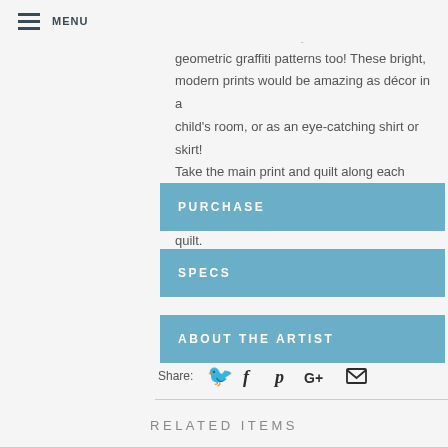MENU
filled with words or affirmation, and features abstract arrows, trendy colorblocks, and geometric graffiti patterns too! These bright, modern prints would be amazing as décor in a child's room, or as an eye-catching shirt or skirt! Take the main print and quilt along each block of text for an easy and unique wholecloth quilt.
PURCHASE
SPECS
ABOUT THE ARTIST
Share:
RELATED ITEMS